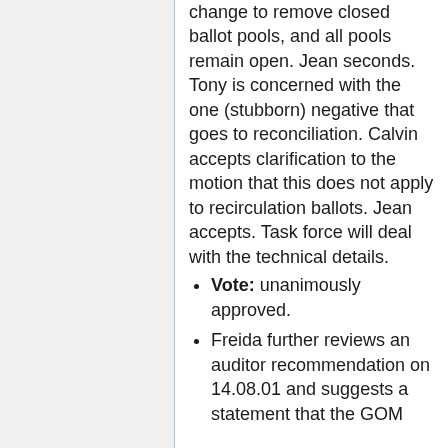change to remove closed ballot pools, and all pools remain open. Jean seconds. Tony is concerned with the one (stubborn) negative that goes to reconciliation. Calvin accepts clarification to the motion that this does not apply to recirculation ballots. Jean accepts. Task force will deal with the technical details.
Vote: unanimously approved.
Freida further reviews an auditor recommendation on 14.08.01 and suggests a statement that the GOM